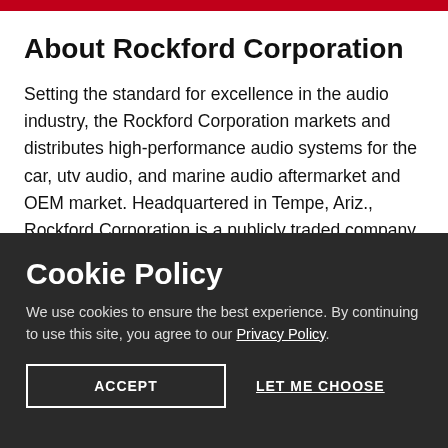About Rockford Corporation
Setting the standard for excellence in the audio industry, the Rockford Corporation markets and distributes high-performance audio systems for the car, utv audio, and marine audio aftermarket and OEM market. Headquartered in Tempe, Ariz., Rockford Corporation is a publicly traded company and manufactures or distributes its products under the brand: Rockford Fosgate(R). For more information, please visit:
Cookie Policy
We use cookies to ensure the best experience. By continuing to use this site, you agree to our Privacy Policy.
ACCEPT
LET ME CHOOSE